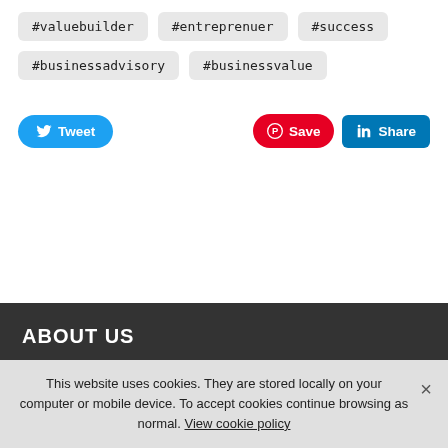#valuebuilder
#entreprenuer
#success
#businessadvisory
#businessvalue
[Figure (infographic): Social sharing buttons: Tweet (Twitter, blue), Save (Pinterest, red), Share (LinkedIn, blue)]
ABOUT US
SERVICES
This website uses cookies. They are stored locally on your computer or mobile device. To accept cookies continue browsing as normal. View cookie policy